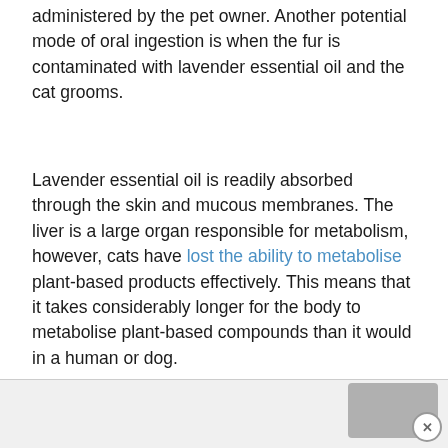administered by the pet owner. Another potential mode of oral ingestion is when the fur is contaminated with lavender essential oil and the cat grooms.
Lavender essential oil is readily absorbed through the skin and mucous membranes. The liver is a large organ responsible for metabolism, however, cats have lost the ability to metabolise plant-based products effectively. This means that it takes considerably longer for the body to metabolise plant-based compounds than it would in a human or dog.